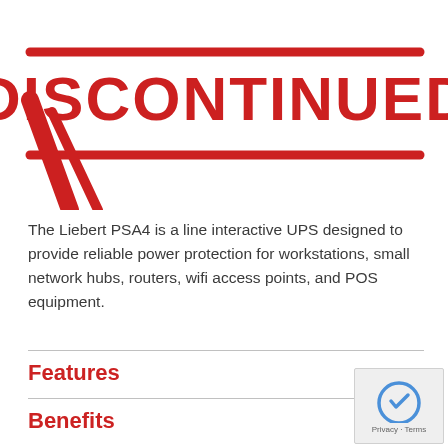[Figure (illustration): Red DISCONTINUED stamp graphic with bold text and circular border, partially cropped at top of page]
The Liebert PSA4 is a line interactive UPS designed to provide reliable power protection for workstations, small network hubs, routers, wifi access points, and POS equipment.
Features
Benefits